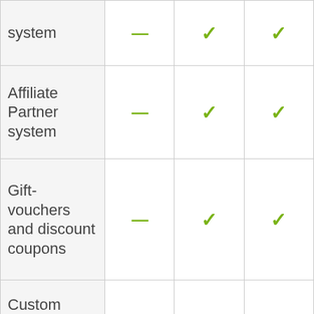| Feature | Plan 1 | Plan 2 | Plan 3 |
| --- | --- | --- | --- |
| system | — | ✓ | ✓ |
| Affiliate Partner system | — | ✓ | ✓ |
| Gift-vouchers and discount coupons | — | ✓ | ✓ |
| Custom design gift vouchers and event tickets | — | — | ✓ |
| Reseller log- |  |  |  |